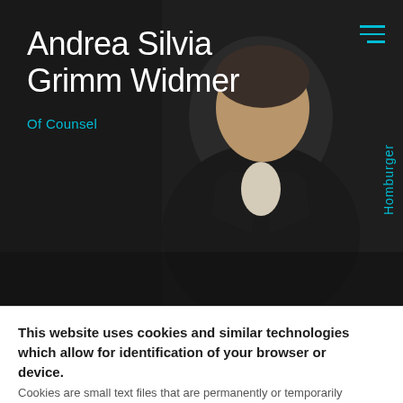[Figure (photo): Professional headshot of Andrea Silvia Grimm Widmer, a woman in a dark blazer sitting in a chair against a dark background]
Andrea Silvia Grimm Widmer
Of Counsel
Homburger
This website uses cookies and similar technologies which allow for identification of your browser or device.
Cookies are small text files that are permanently or temporarily